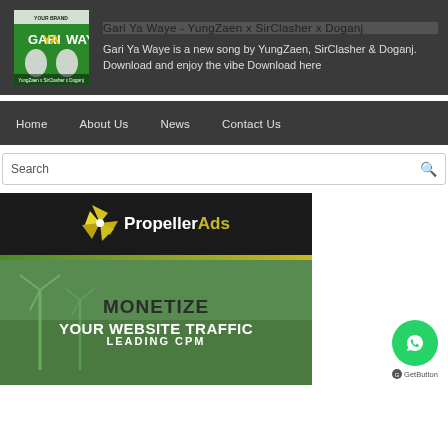Gari Ya Waye - YungZaen x SirClasher x Doganj
Gari Ya Waye is a new song by YungZaen, SirClasher & Doganj. Download and enjoy the vibe Download here
Home
About Us
News
Contact Us
Search
[Figure (screenshot): PropellerAds advertisement banner showing logo with yellow windmill icon, text 'PropellerAds' with 'Ads' in yellow, below section showing green background with wind turbines and text 'MONETIZE YOUR WEBSITE TRAFFIC' and partial text 'LEADING CPM']
[Figure (logo): WhatsApp green circle button with phone/chat icon, and 'GetButton' text below]